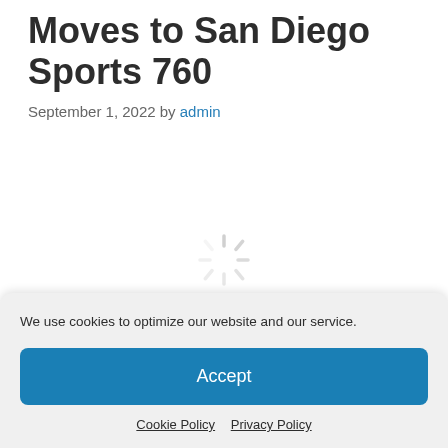Moves to San Diego Sports 760
September 1, 2022 by admin
[Figure (other): Loading spinner icon in light gray]
We use cookies to optimize our website and our service.
Accept
Cookie Policy   Privacy Policy